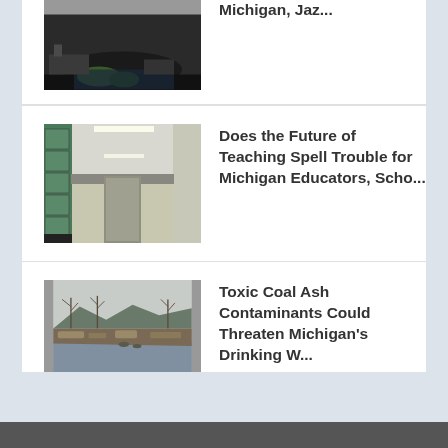[Figure (photo): Aerial or overhead view of a dark landscape, possibly a coal or industrial site near water with trees visible]
Michigan, Jaz...
[Figure (photo): School hallway with lockers on the left side and fluorescent lighting]
Does the Future of Teaching Spell Trouble for Michigan Educators, Scho...
[Figure (photo): Outdoor scene with a river or water body, bare trees, and wintry/muddy landscape]
Toxic Coal Ash Contaminants Could Threaten Michigan's Drinking W...